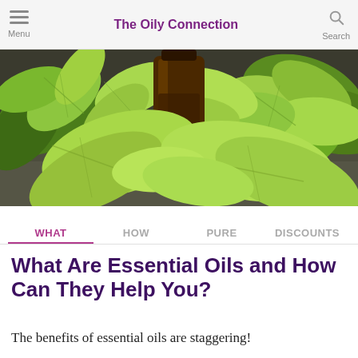The Oily Connection
[Figure (photo): A dark amber essential oil bottle surrounded by fresh green mint/herb leaves on a dark surface]
WHAT | HOW | PURE | DISCOUNTS
What Are Essential Oils and How Can They Help You?
The benefits of essential oils are staggering!